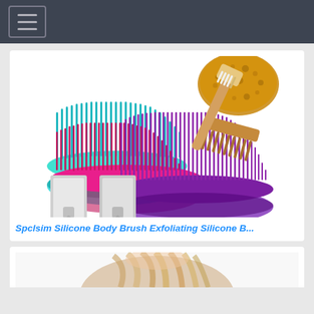[Figure (screenshot): Dark gray navigation bar with hamburger menu icon (three horizontal lines) in a bordered box on the left.]
[Figure (photo): Product photo showing silicone body brushes in teal/cyan, pink/magenta, and purple colors with soft bristles, along with a natural sponge, wooden comb, and a long-handled bath brush. Below the brushes are two silver metal adhesive wall hooks.]
Spclsim Silicone Body Brush Exfoliating Silicone B...
[Figure (photo): Partial view of a second product card showing what appears to be hair or a hair-related product at the bottom of the page.]